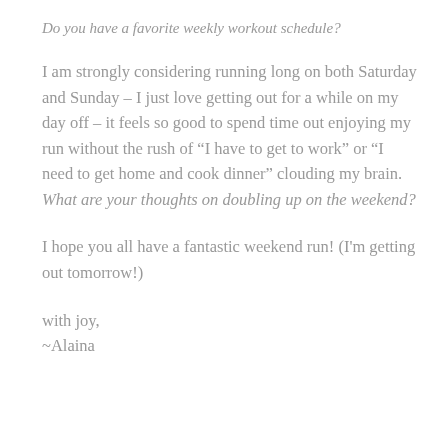Do you have a favorite weekly workout schedule?
I am strongly considering running long on both Saturday and Sunday – I just love getting out for a while on my day off – it feels so good to spend time out enjoying my run without the rush of “I have to get to work” or “I need to get home and cook dinner” clouding my brain.   What are your thoughts on doubling up on the weekend?
I hope you all have a fantastic weekend run! (I'm getting out tomorrow!)
with joy,
~Alaina